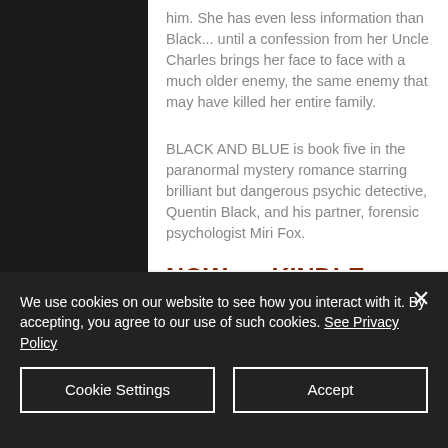him. She has even less information than Black... until a confession from her Uncle Charles brings her face to face with a much older enemy, the same enemy that may have killed her entire family.
BLACK AND BLUE is book five in the paranormal mystery romance starring brilliant but dangerous psychic detective, Quentin Black, and his partner, forensic psychologist Miri Fox.
NOW on KINDLE UNLIMITED!
We use cookies on our website to see how you interact with it. By accepting, you agree to our use of such cookies. See Privacy Policy